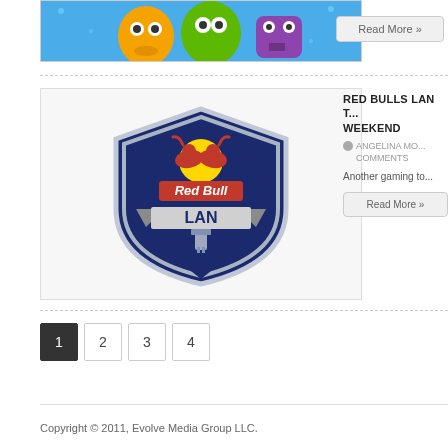[Figure (illustration): Cartoon alien monsters on blue starburst background - orange, green, and purple creatures]
Read More »
[Figure (logo): Red Bull LAN logo - shield shaped badge with Red Bull branding and LAN text]
RED BULLS LAN T... WEEKEND
ANGELINA MO... COMMENTS
Another gaming to...
Read More »
1
2
3
4
Copyright © 2011, Evolve Media Group LLC.